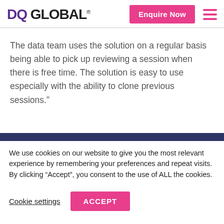DQ GLOBAL® | Enquire Now
The data team uses the solution on a regular basis being able to pick up reviewing a session when there is free time. The solution is easy to use especially with the ability to clone previous sessions."
We use cookies on our website to give you the most relevant experience by remembering your preferences and repeat visits. By clicking “Accept”, you consent to the use of ALL the cookies.
Cookie settings | ACCEPT